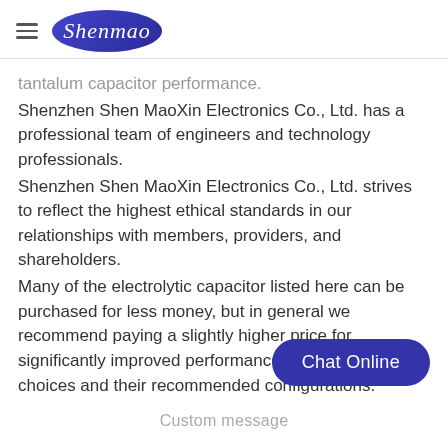Shenmao
tantalum capacitor performance.
Shenzhen Shen MaoXin Electronics Co., Ltd. has a professional team of engineers and technology professionals.
Shenzhen Shen MaoXin Electronics Co., Ltd. strives to reflect the highest ethical standards in our relationships with members, providers, and shareholders.
Many of the electrolytic capacitor listed here can be purchased for less money, but in general we recommend paying a slightly higher price for significantly improved performance. These are our top choices and their recommended configurations.
If something seems too good to be true, then it can be a , which provides electrolytic capacitor suppliers value over its cost.
Chat Online
Custom message